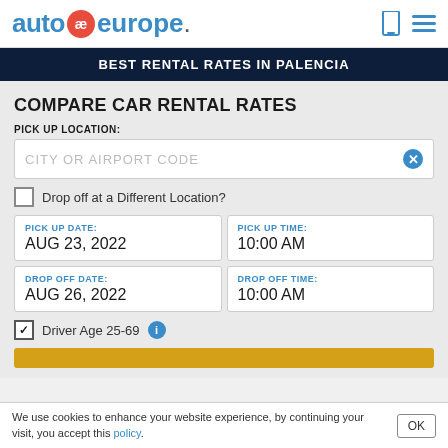auto ae europe. (Auto Europe logo with navigation icons)
BEST RENTAL RATES IN PALENCIA
COMPARE CAR RENTAL RATES
PICK UP LOCATION:
CITY OR AIRPORT CODE
Drop off at a Different Location?
PICK UP DATE: AUG 23, 2022
PICK UP TIME: 10:00 AM
DROP OFF DATE: AUG 26, 2022
DROP OFF TIME: 10:00 AM
Driver Age 25-69
We use cookies to enhance your website experience, by continuing your visit, you accept this policy.